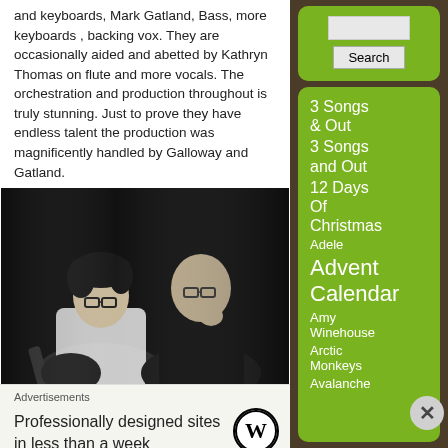and keyboards, Mark Gatland, Bass, more keyboards , backing vox. They are occasionally aided and abetted by Kathryn Thomas on flute and more vocals. The orchestration and production throughout is truly stunning. Just to prove they have endless talent the production was magnificently handled by Galloway and Gatland.
[Figure (photo): Black and white photo of two men, one with glasses and curly hair holding a guitar, and another bald man with glasses.]
Advertisements
Professionally designed sites in less than a week
[Figure (logo): WordPress logo - circular black and white W icon]
3 Songs & Out
3 Songs and Out
12 Days Of Christmas
Adele
Advent Calendar
Amy Winehouse
Arctic Monkeys
Avalanche